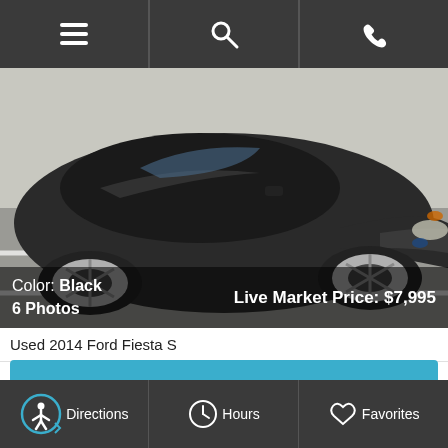[Figure (screenshot): Mobile app top navigation bar with hamburger menu, search, and phone icons on dark background]
[Figure (photo): Photo of a black 2014 Ford Fiesta S in a parking lot, top-down angled view showing front and roof]
Color: Black
6 Photos
Live Market Price: $7,995
Used 2014 Ford Fiesta S
Reserve This Vehicle
Vehicle Details
[Figure (screenshot): Mobile app bottom navigation bar with accessibility, directions, hours, and favorites icons on dark background]